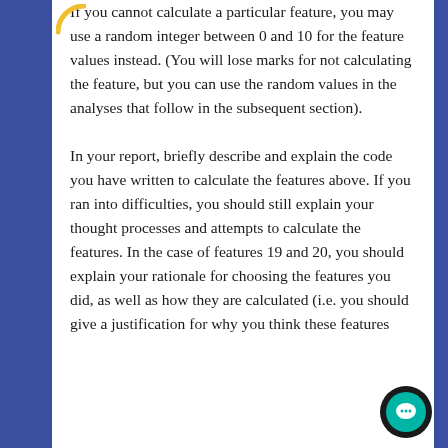If you cannot calculate a particular feature, you may use a random integer between 0 and 10 for the feature values instead. (You will lose marks for not calculating the feature, but you can use the random values in the analyses that follow in the subsequent section).
In your report, briefly describe and explain the code you have written to calculate the features above. If you ran into difficulties, you should still explain your thought processes and attempts to calculate the features. In the case of features 19 and 20, you should explain your rationale for choosing the features you did, as well as how they are calculated (i.e. you should give a justification for why you think these features